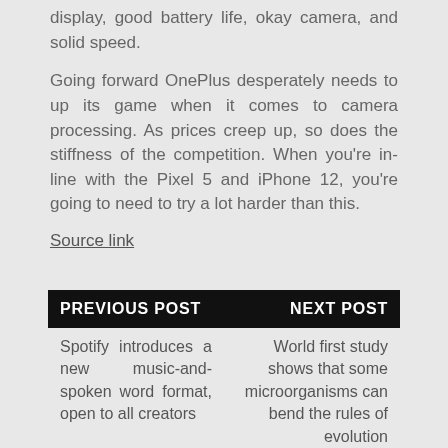display, good battery life, okay camera, and solid speed.
Going forward OnePlus desperately needs to up its game when it comes to camera processing. As prices creep up, so does the stiffness of the competition. When you're in-line with the Pixel 5 and iPhone 12, you're going to need to try a lot harder than this.
Source link
PREVIOUS POST   NEXT POST
Spotify introduces a new music-and-spoken word format, open to all creators
World first study shows that some microorganisms can bend the rules of evolution